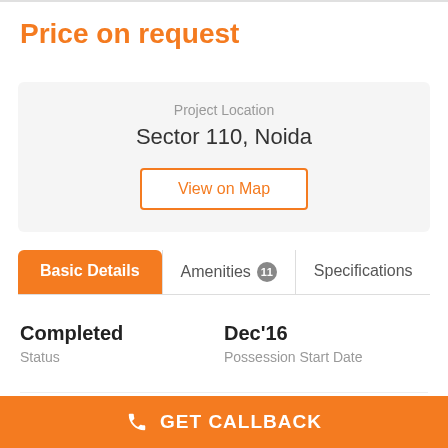Price on request
Project Location
Sector 110, Noida
View on Map
Basic Details
Amenities 11
Specifications
Completed
Status
Dec'16
Possession Start Date
1150 sq ft
Size
70
GET CALLBACK